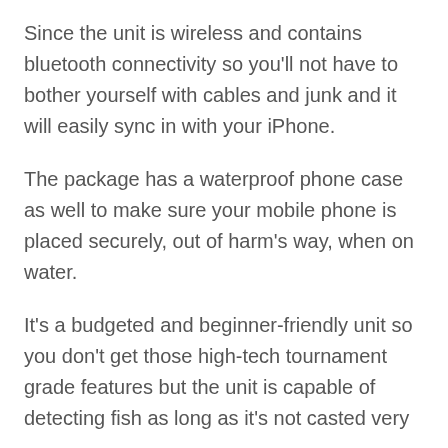Since the unit is wireless and contains bluetooth connectivity so you'll not have to bother yourself with cables and junk and it will easily sync in with your iPhone.
The package has a waterproof phone case as well to make sure your mobile phone is placed securely, out of harm’s way, when on water.
It’s a budgeted and beginner-friendly unit so you don’t get those high-tech tournament grade features but the unit is capable of detecting fish as long as it’s not casted very